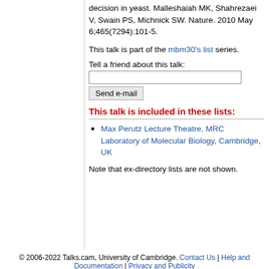decision in yeast. Malleshaiah MK, Shahrezaei V, Swain PS, Michnick SW. Nature. 2010 May 6;465(7294):101-5.
This talk is part of the mbm30's list series.
Tell a friend about this talk:
This talk is included in these lists:
Max Perutz Lecture Theatre, MRC Laboratory of Molecular Biology, Cambridge, UK
Note that ex-directory lists are not shown.
© 2006-2022 Talks.cam, University of Cambridge. Contact Us | Help and Documentation | Privacy and Publicity